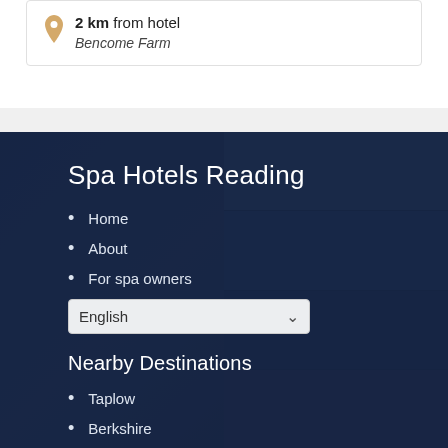2 km from hotel
Bencome Farm
Spa Hotels Reading
Home
About
For spa owners
English
Nearby Destinations
Taplow
Berkshire
Windsor